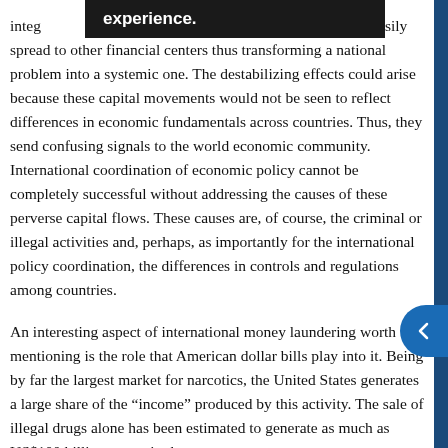integ...ng in one center can easily spread to other financial centers thus transforming a national problem into a systemic one. The destabilizing effects could arise because these capital movements would not be seen to reflect differences in economic fundamentals across countries. Thus, they send confusing signals to the world economic community. International coordination of economic policy cannot be completely successful without addressing the causes of these perverse capital flows. These causes are, of course, the criminal or illegal activities and, perhaps, as importantly for the international policy coordination, the differences in controls and regulations among countries.
An interesting aspect of international money laundering worth mentioning is the role that American dollar bills play into it. Being by far the largest market for narcotics, the United States generates a large share of the “income” produced by this activity. The sale of illegal drugs alone has been estimated to generate as much as US$100 billion a year in the